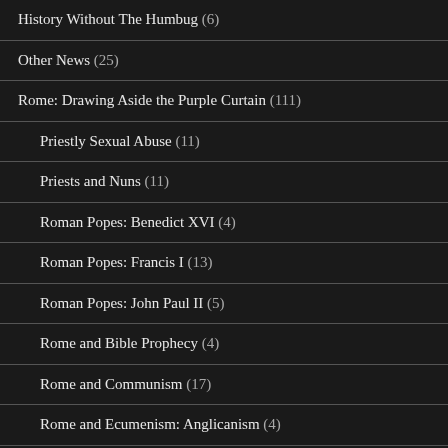History Without The Humbug (6)
Other News (25)
Rome: Drawing Aside the Purple Curtain (111)
Priestly Sexual Abuse (11)
Priests and Nuns (11)
Roman Popes: Benedict XVI (4)
Roman Popes: Francis I (13)
Roman Popes: John Paul II (5)
Rome and Bible Prophecy (4)
Rome and Communism (17)
Rome and Ecumenism: Anglicanism (4)
Rome and Ecumenism: General (15)